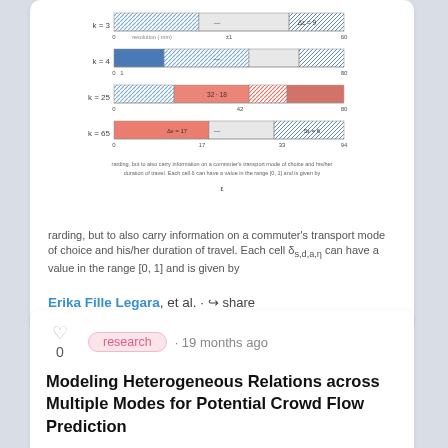[Figure (stacked-bar-chart): Stacked horizontal bar chart showing distributions for k=3, k=4, k=25, k=65 with striped/hatched patterns in blue and red colors, with axis labels and annotations.]
rarding, but to also carry information on a commuter's transport mode of choice and his/her duration of travel. Each cell δ_s,d,a,η can have a value in the range [0, 1] and is given by
Erika Fille Legara, et al. · share
research · 19 months ago
Modeling Heterogeneous Relations across Multiple Modes for Potential Crowd Flow Prediction
Potential crowd flow prediction for new planned transportation sites is ...